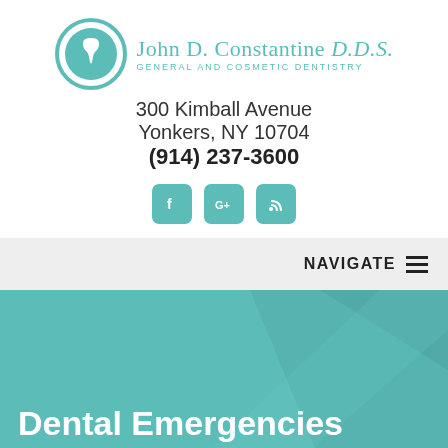[Figure (logo): John D. Constantine D.D.S. logo with teal circular tooth icon and text 'GENERAL AND COSMETIC DENTISTRY']
300 Kimball Avenue
Yonkers, NY 10704
(914) 237-3600
[Figure (other): Three teal rounded-square social media icons: Facebook, Google+, RSS feed]
NAVIGATE ≡
Dental Emergencies